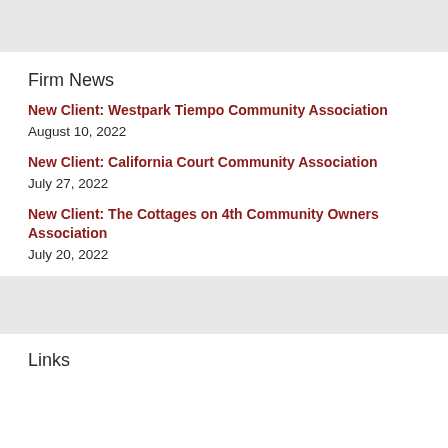Firm News
New Client: Westpark Tiempo Community Association
August 10, 2022
New Client: California Court Community Association
July 27, 2022
New Client: The Cottages on 4th Community Owners Association
July 20, 2022
Links